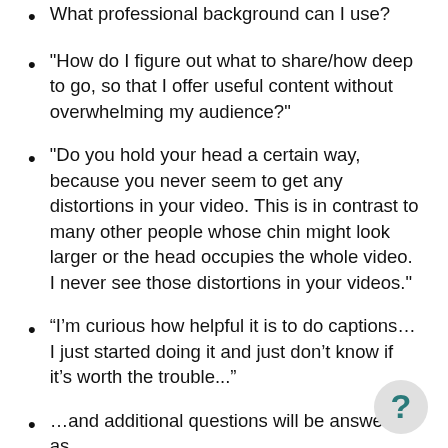What professional background can I use?
"How do I figure out what to share/how deep to go, so that I offer useful content without overwhelming my audience?"
"Do you hold your head a certain way, because you never seem to get any distortions in your video. This is in contrast to many other people whose chin might look larger or the head occupies the whole video. I never see those distortions in your videos."
“I’m curious how helpful it is to do captions…I just started doing it and just don't know if it's worth the trouble...”
…and additional questions will be answered as